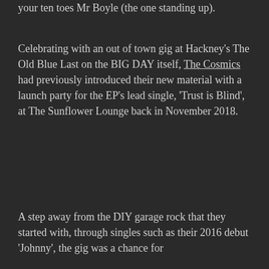your ten toes Mr Boyle (the one standing up).
Celebrating with an out of town gig at Hackney's The Old Blue Last on the BIG DAY itself, The Cosmics had previously introduced their new material with a launch party for the EP's lead single, 'Trust is Blind', at The Sunflower Lounge back in November 2018.
A step away from the DIY garage rock that they started with, through singles such as their 2016 debut 'Johnny', the gig was a chance for